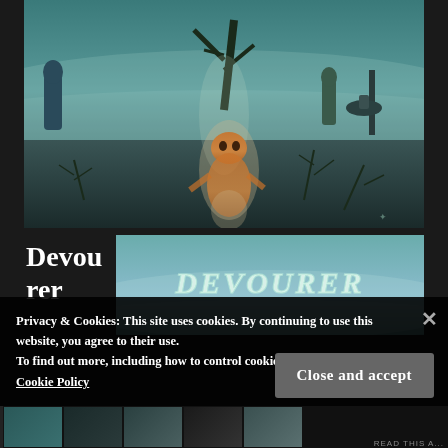[Figure (illustration): Dark fantasy album cover art showing a ghostly skeletal creature crouching in a misty wasteland with dead trees, robed figures in the background, and an eerie teal-green atmospheric sky]
Devourer
[Figure (logo): DEVOURER band logo in stylized metal font on a teal/grey smoky background]
Privacy & Cookies: This site uses cookies. By continuing to use this website, you agree to their use.
To find out more, including how to control cookies, see here:
Cookie Policy
Close and accept